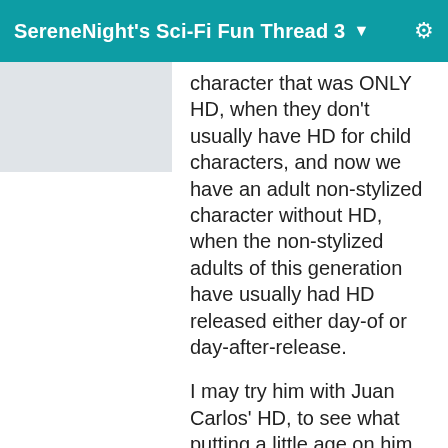SereneNight's Sci-Fi Fun Thread 3
[Figure (other): User avatar placeholder — light gray rectangle]
character that was ONLY HD, when they don't usually have HD for child characters, and now we have an adult non-stylized character without HD, when the non-stylized adults of this generation have usually had HD released either day-of or day-after-release.
I may try him with Juan Carlos' HD, to see what putting a little age on him does.
EDIT: I took a look at his texture files, and he absolutely is a Faber buyout. He even still has Faber's maker's mark on the